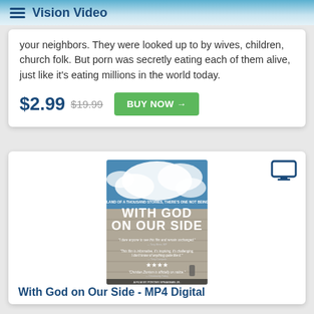Vision Video
your neighbors. They were looked up to by wives, children, church folk. But porn was secretly eating each of them alive, just like it's eating millions in the world today.
$2.99  $19.99  BUY NOW →
[Figure (photo): Movie poster for 'With God on Our Side' showing a concrete wall with blue sky and clouds, with quotes and star ratings printed on it.]
With God on Our Side - MP4 Digital